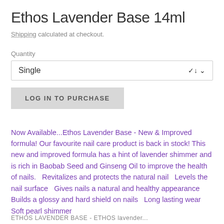Ethos Lavender Base 14ml
Shipping calculated at checkout.
Quantity
Single
LOG IN TO PURCHASE
Now Available...Ethos Lavender Base - New & Improved formula! Our favourite nail care product is back in stock! This new and improved formula has a hint of lavender shimmer and is rich in Baobab Seed and Ginseng Oil to improve the health of nails.   Revitalizes and protects the natural nail   Levels the nail surface   Gives nails a natural and healthy appearance   Builds a glossy and hard shield on nails  Long lasting wear  Soft pearl shimmer
ETHOS LAVENDER BASE - ETHOS lavender...